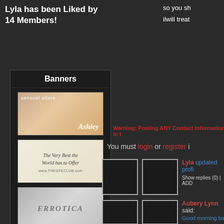Lyla has been Liked by 14 Members!
so you sh
ilwill treat
Banners
[Figure (photo): Banner: sensual allure / Ashley - woman photo]
[Figure (photo): Banner: The Very Best the World has to Offer - www.THEGFECLUB.com]
[Figure (photo): Banner: ERROTICA - woman photo]
[Figure (photo): Banner: COLLEGE GIRLS with dollar sign]
Warning: Posting ANY Contact Information in t
You must login or register i
Lyla updated profi
Show replies (0) | ADD
Aubery Lynn said:
Good morning bal